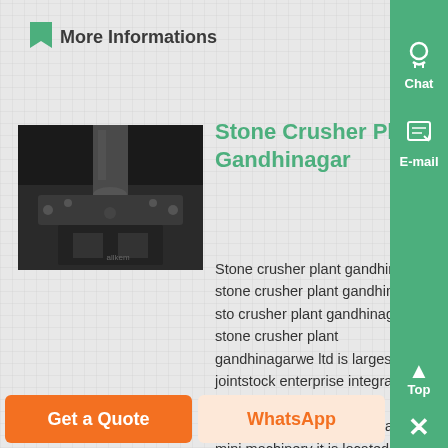More Informations
[Figure (photo): Stone crusher plant machinery — close-up photo of heavy industrial crusher equipment with metal flanges, dark industrial setting]
Stone Crusher Plant Gandhinagar
Stone crusher plant gandhinagar stone crusher plant gandhinagar stone crusher plant gandhinagar stone crusher plant gandhinagarwe ltd is largesized jointstock enterprise integrated with the scientific research production and sales of heavy mining machinery it is located in high and new technology industrial development zone...
Get a Quote
WhatsApp